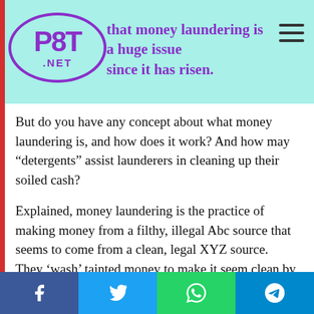P8T.NET logo and navigation header with money laundering article title partially visible
But do you have any concept about what money laundering is, and how does it work? And how may “detergents” assist launderers in cleaning up their soiled cash?
Explained, money laundering is the practice of making money from a filthy, illegal Abc source that seems to come from a clean, legal XYZ source. They ‘wash’ tainted money to make it seem clean by converting, storing, moving, or concealing its origins and nature. Money laundering is often characterized as moving money across national boundaries to disguise its origins and confound authorities. Criminals cannot utilize dirty money without first laundering it since it may be associated with the initial unlawful conduct, leading to money seizures
Facebook | Twitter | WhatsApp | Telegram share buttons